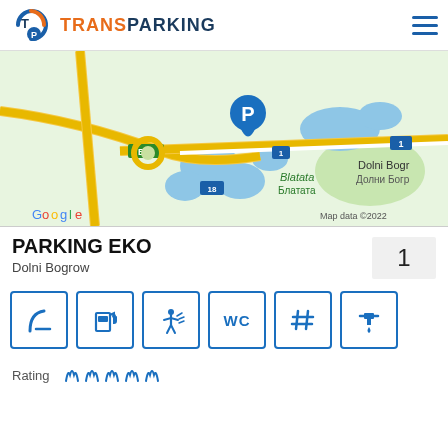TRANSPARKING
[Figure (map): Google Maps screenshot showing parking location near E80 highway, Blatata / Блатата area, Dolni Bogrow / Долни Богр, with blue P marker pin, road networks including routes 1 and 18, green areas, and blue water bodies. Map data ©2022.]
PARKING EKO
Dolni Bogrow
[Figure (infographic): Row of six amenity icons in blue bordered boxes: curved road/ramp, fuel pump, car wash person, WC, hashtag/grid, and faucet/water tap.]
Rating